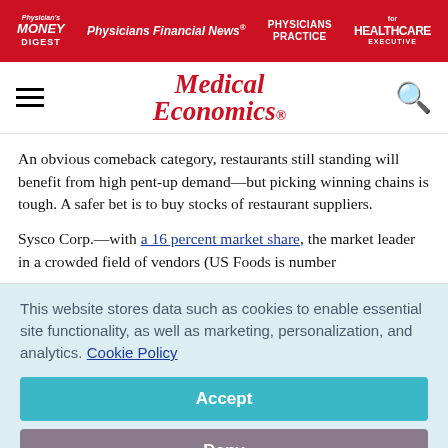Physician's Money Digest | Physicians Financial News | Physicians Practice | Healthcare Executive
[Figure (logo): Medical Economics logo with hamburger menu and search icon navigation bar]
An obvious comeback category, restaurants still standing will benefit from high pent-up demand—but picking winning chains is tough. A safer bet is to buy stocks of restaurant suppliers.
Sysco Corp.—with a 16 percent market share, the market leader in a crowded field of vendors (US Foods is number
This website stores data such as cookies to enable essential site functionality, as well as marketing, personalization, and analytics. Cookie Policy
Accept
Deny